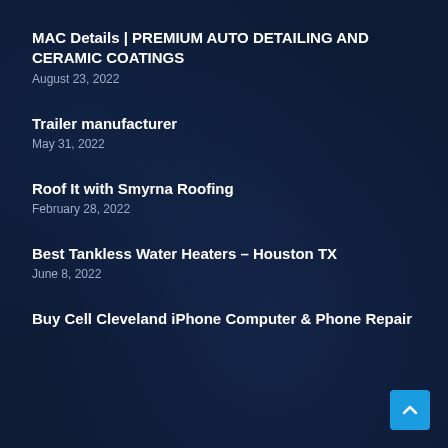MAC Details | PREMIUM AUTO DETAILING AND CERAMIC COATINGS
August 23, 2022
Trailer manufacturer
May 31, 2022
Roof It with Smyrna Roofing
February 28, 2022
Best Tankless Water Heaters – Houston TX
June 8, 2022
Buy Cell Cleveland iPhone Computer & Phone Repair